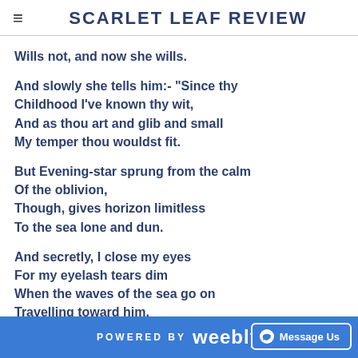SCARLET LEAF REVIEW
Wills not, and now she wills.
And slowly she tells him:- "Since thy
Childhood I've known thy wit,
And as thou art and glib and small
My temper thou wouldst fit.
But Evening-star sprung from the calm
Of the oblivion,
Though, gives horizon limitless
To the sea lone and dun.
And secretly, I close my eyes
For my eyelash tears dim
When the waves of the sea go on
Travelling toward him.
POWERED BY weebly